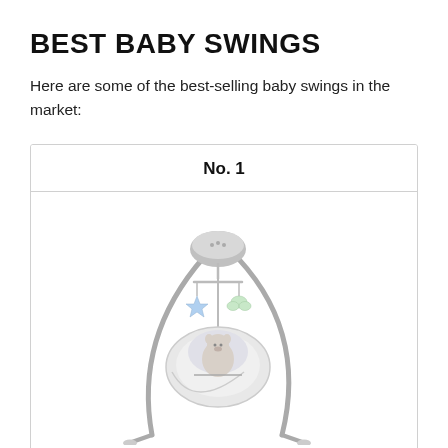BEST BABY SWINGS
Here are some of the best-selling baby swings in the market:
No. 1
[Figure (photo): A baby swing product photo showing a modern infant swing with a curved gray metal frame, an oval-shaped soft seat with a small stuffed animal, hanging toy bar with plush toys, and a sound/mobile unit on top. The swing has a light gray and white color scheme.]